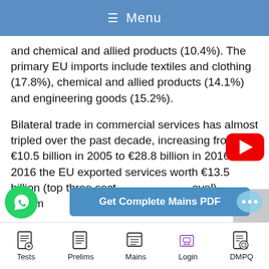≡ Menu
and chemical and allied products (10.4%). The primary EU imports include textiles and clothing (17.8%), chemical and allied products (14.1%) and engineering goods (15.2%).
Bilateral trade in commercial services has almost tripled over the past decade, increasing from €10.5 billion in 2005 to €28.8 billion in 2016. In 2016 the EU exported services worth €13.5 billion (top three sect... avel), le it im... three
Tests  Prelims  Mains  Login  DMPQ